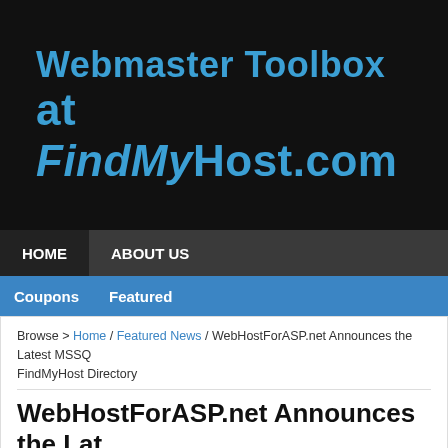Webmaster Toolbox at FindMyHost.com
HOME  ABOUT US
Coupons  Featured
Browse > Home / Featured News / WebHostForASP.net Announces the Latest MSSQ FindMyHost Directory
WebHostForASP.net Announces the Latest Server 2012 Hosting
September 11, 2012 by FindMyHost News
Like 0
Web Hosting Services – Dallas, TX – The latest hosting technology and servi comes with Language Integrated Query (LINQ), New Data Types, Integrated R and Large User Defined Columns. Both Shared hosting and Reseller Hosting p Server 2012 Hosting or SQL Server 2012 Hosting Addon. Some of the hosti